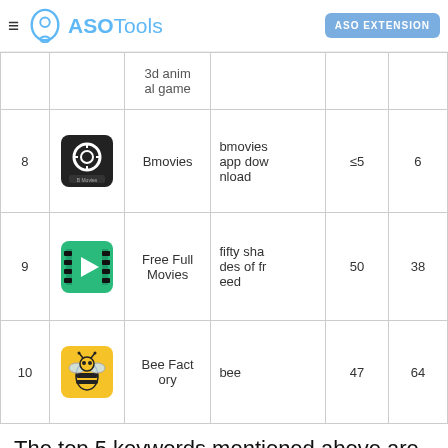ASOTools | ASO EXTENSION
| # | Icon | App | Keyword | Vol | Rank |
| --- | --- | --- | --- | --- | --- |
|  |  | 3d animal game |  |  |  |
| 8 | [Bmovies icon] | Bmovies | bmovies app download | ≤5 | 6 |
| 9 | [Free Full Movies icon] | Free Full Movies | fifty shades of freed | 50 | 38 |
| 10 | [Bee Factory icon] | Bee Factory | bee | 47 | 64 |
The top 5 keywords mentioned above are just one of the selected cases. You can select keywords in any range according to your own